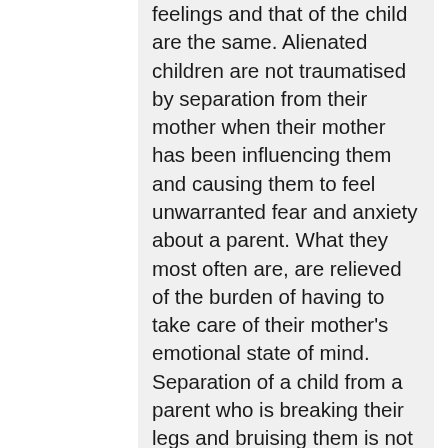feelings and that of the child are the same. Alienated children are not traumatised by separation from their mother when their mother has been influencing them and causing them to feel unwarranted fear and anxiety about a parent. What they most often are, are relieved of the burden of having to take care of their mother's emotional state of mind. Separation of a child from a parent who is breaking their legs and bruising them is not sinister or scary so why is separation of a child from a parent who is breaking a child's perspective